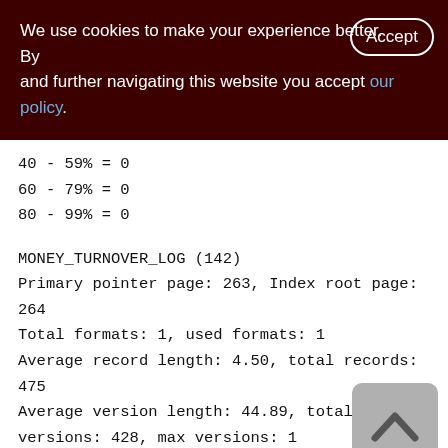We use cookies to make your experience better. By accepting and further navigating this website you accept our policy.
40 - 59% = 0
60 - 79% = 0
80 - 99% = 0
MONEY_TURNOVER_LOG (142)
Primary pointer page: 263, Index root page: 264
Total formats: 1, used formats: 1
Average record length: 4.50, total records: 475
Average version length: 44.89, total versions: 428, max versions: 1
Average fragment length: 0.00, total